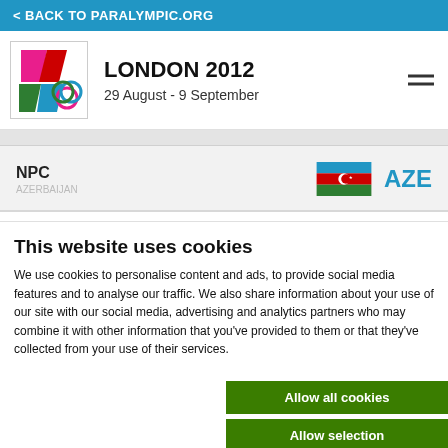< BACK TO PARALYMPIC.ORG
LONDON 2012
29 August - 9 September
NPC
AZE
This website uses cookies
We use cookies to personalise content and ads, to provide social media features and to analyse our traffic. We also share information about your use of our site with our social media, advertising and analytics partners who may combine it with other information that you've provided to them or that they've collected from your use of their services.
Allow all cookies
Allow selection
Use necessary cookies on
ecessary   Preferences   Statistics   Marketing
Show details